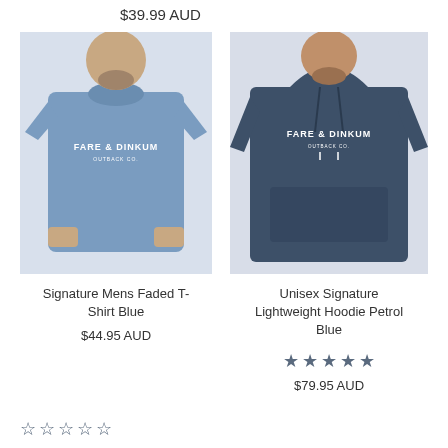$39.99 AUD
[Figure (photo): Man wearing blue Fare & Dinkum branded t-shirt]
[Figure (photo): Man wearing dark petrol blue Fare & Dinkum branded hoodie]
Signature Mens Faded T-Shirt Blue
$44.95 AUD
Unisex Signature Lightweight Hoodie Petrol Blue
★★★★★
$79.95 AUD